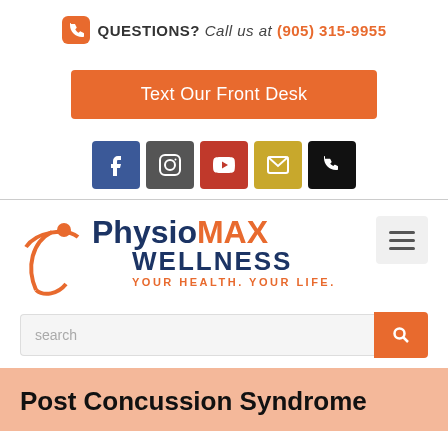QUESTIONS? Call us at (905) 315-9955
Text Our Front Desk
[Figure (other): Social media and contact icon buttons: Facebook, Instagram, YouTube, Email, Phone]
[Figure (logo): PhysioMAX Wellness logo with stylized figure, tagline YOUR HEALTH. YOUR LIFE.]
search
Post Concussion Syndrome